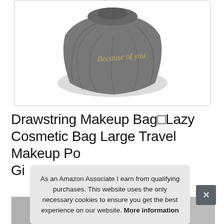[Figure (photo): Gray drawstring makeup bag with gold embroidered script logo, closed/gathered, shown on white background]
Drawstring Makeup Bag□Lazy Cosmetic Bag Large Travel Makeup Po[...] Gi[...]
As an Amazon Associate I earn from qualifying purchases. This website uses the only necessary cookies to ensure you get the best experience on our website. More information
[Figure (photo): Thumbnail strip of product images at the bottom of the page]